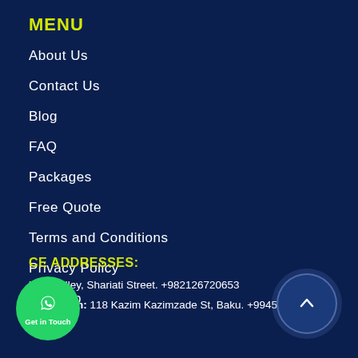MENU
About Us
Contact Us
Blog
FAQ
Packages
Free Quote
Terms and Conditions
Privacy Policy
Sitemap
OFFICE ADDRESSES:
khour Alley, Shariati Street. +982126720653
Azerbaijan: 118 Kazim Kazimzade St, Baku. +994553153255